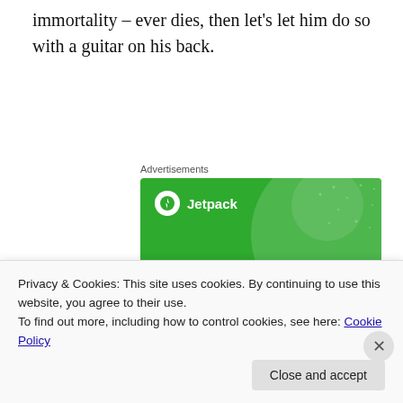immortality – ever dies, then let's let him do so with a guitar on his back.
Advertisements
[Figure (screenshot): Jetpack advertisement banner on green background with text 'Like an undo button for your WordPress site']
Privacy & Cookies: This site uses cookies. By continuing to use this website, you agree to their use.
To find out more, including how to control cookies, see here: Cookie Policy